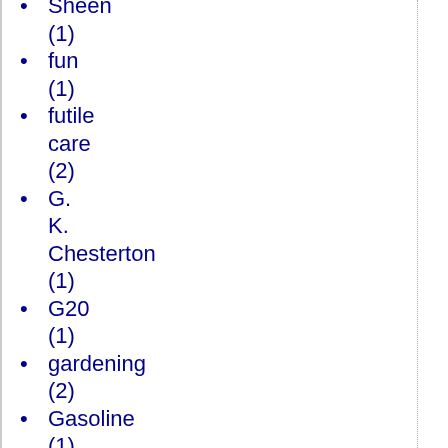Sheen (1)
fun (1)
futile care (2)
G. K. Chesterton (1)
G20 (1)
gardening (2)
Gasoline (1)
gay marriage (4)
Gay marriage (1)
gay rights (2)